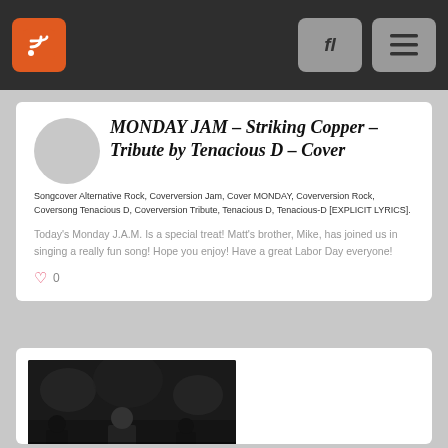Navigation bar with RSS button and menu/search buttons
MONDAY JAM – Striking Copper – Tribute by Tenacious D – Cover
Songcover Alternative Rock, Coverversion Jam, Cover MONDAY, Coverversion Rock, Coversong Tenacious D, Coverversion Tribute, Tenacious D, Tenacious-D [EXPLICIT LYRICS].
Today's Monday J.A.M. Is a special treat! Matt's brother, Mike, has joined us in singing a really fun song! Hope you enjoy! Have a great Labor Day everyone!
[Figure (photo): Second blog post card with a dark performance/concert thumbnail image showing 'Atelier' text overlay with performers on stage]